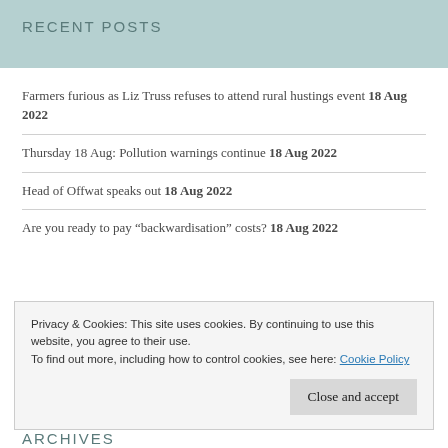RECENT POSTS
Farmers furious as Liz Truss refuses to attend rural hustings event 18 Aug 2022
Thursday 18 Aug: Pollution warnings continue 18 Aug 2022
Head of Offwat speaks out 18 Aug 2022
Are you ready to pay “backwardisation” costs? 18 Aug 2022
Privacy & Cookies: This site uses cookies. By continuing to use this website, you agree to their use. To find out more, including how to control cookies, see here: Cookie Policy
Close and accept
ARCHIVES